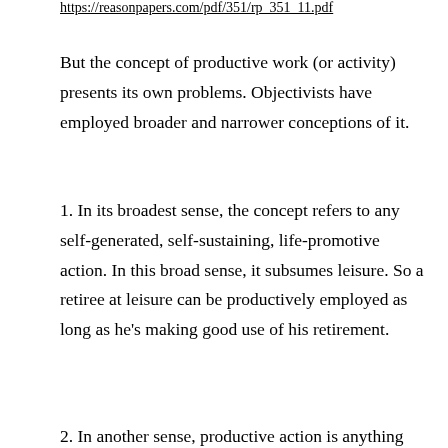https://reasonpapers.com/pdf/351/rp_351_11.pdf
But the concept of productive work (or activity) presents its own problems. Objectivists have employed broader and narrower conceptions of it.
1. In its broadest sense, the concept refers to any self-generated, self-sustaining, life-promotive action. In this broad sense, it subsumes leisure. So a retiree at leisure can be productively employed as long as he’s making good use of his retirement.
2. In another sense, productive action is anything